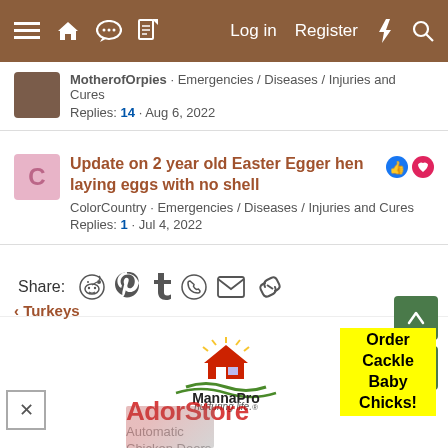Log in  Register
MotherofOrpies · Emergencies / Diseases / Injuries and Cures
Replies: 14 · Aug 6, 2022
Update on 2 year old Easter Egger hen laying eggs with no shell
ColorCountry · Emergencies / Diseases / Injuries and Cures
Replies: 1 · Jul 4, 2022
Share:
< Turkeys
[Figure (logo): MannaPro nurturing life logo]
[Figure (infographic): Yellow ad banner: Order Cackle Baby Chicks!]
[Figure (logo): AdorStore Automatic Chicken Doors advertisement]